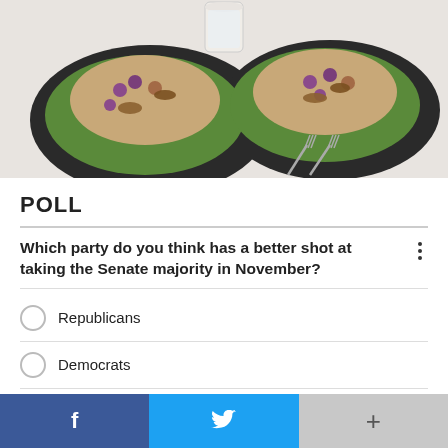[Figure (photo): Food photo showing two chicken salad lettuce wraps on a dark plate with grapes, pecans, and a dressing cup in the background, with forks on the side]
POLL
Which party do you think has a better shot at taking the Senate majority in November?
Republicans
Democrats